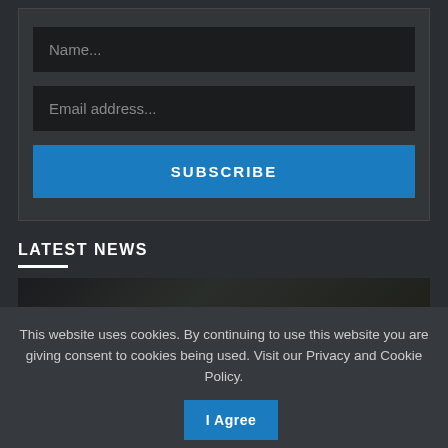[Figure (screenshot): Web form with Name and Email address input fields and a SUBSCRIBE button on dark background]
LATEST NEWS
[Figure (photo): Dark blurred news image thumbnail]
This website uses cookies. By continuing to use this website you are giving consent to cookies being used. Visit our Privacy and Cookie Policy.
I Agree